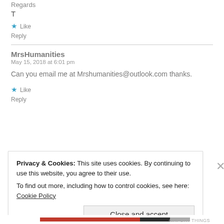Regards
T
★ Like
Reply
MrsHumanities
May 15, 2018 at 6:01 pm
Can you email me at Mrshumanities@outlook.com thanks.
★ Like
Reply
Privacy & Cookies: This site uses cookies. By continuing to use this website, you agree to their use.
To find out more, including how to control cookies, see here: Cookie Policy
Close and accept